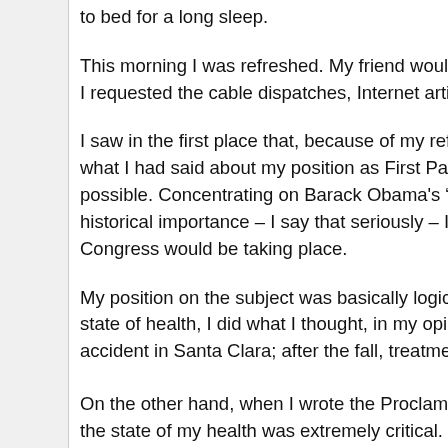to bed for a long sleep.
This morning I was refreshed. My friend wouldn't be arriving to El... I requested the cable dispatches, Internet articles and other recent...
I saw in the first place that, because of my reflections, the cables... what I had said about my position as First Party Secretary and I s... possible. Concentrating on Barack Obama's “Partnership of Equa... historical importance – I say that seriously – I didn't even rememb... Congress would be taking place.
My position on the subject was basically logical. Once I understoo... state of health, I did what I thought, in my opinion, wasn't necessa... accident in Santa Clara; after the fall, treatment was tough, but m...
On the other hand, when I wrote the Proclamation on the 31st of J... the state of my health was extremely critical.
I immediately set aside all my public duties, adding to the proclam... provide security and tranquility for the population.
It wasn't necessary to specifically step down from each one of my...